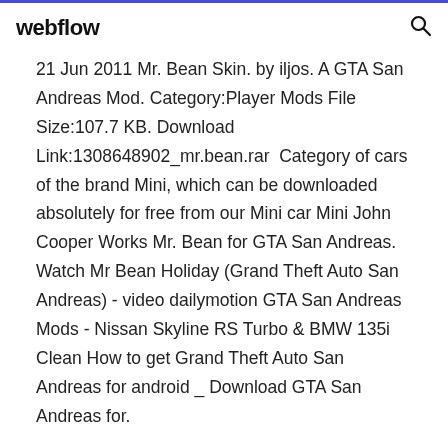webflow
21 Jun 2011 Mr. Bean Skin. by iljos. A GTA San Andreas Mod. Category:Player Mods File Size:107.7 KB. Download Link:1308648902_mr.bean.rar  Category of cars of the brand Mini, which can be downloaded absolutely for free from our Mini car Mini John Cooper Works Mr. Bean for GTA San Andreas. Watch Mr Bean Holiday (Grand Theft Auto San Andreas) - video dailymotion GTA San Andreas Mods - Nissan Skyline RS Turbo & BMW 135i Clean How to get Grand Theft Auto San Andreas for android _ Download GTA San Andreas for.